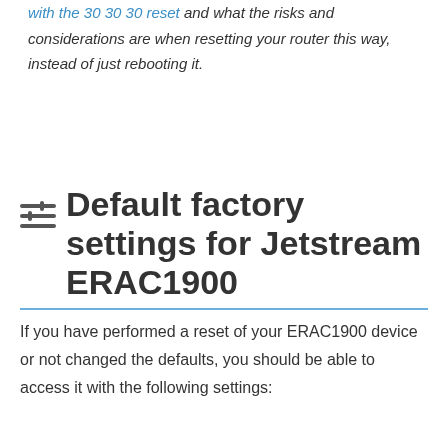worth reading more about how to reset routers with the 30 30 30 reset and what the risks and considerations are when resetting your router this way, instead of just rebooting it.
Default factory settings for Jetstream ERAC1900
If you have performed a reset of your ERAC1900 device or not changed the defaults, you should be able to access it with the following settings: